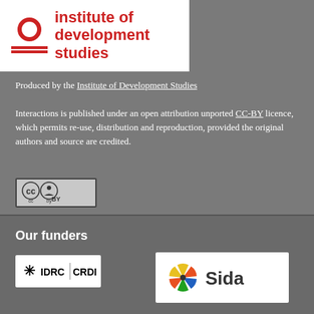[Figure (logo): Institute of Development Studies logo with red circle, red lines icon and bold red text reading 'institute of development studies' on white background]
Produced by the Institute of Development Studies
Interactions is published under an open attribution unported CC-BY licence, which permits re-use, distribution and reproduction, provided the original authors and source are credited.
[Figure (logo): Creative Commons CC-BY licence badge showing CC and person icons with 'BY' text on grey background]
Our funders
[Figure (logo): IDRC CRDI logo on white background]
[Figure (logo): Sida logo with colorful pinwheel graphic on white background]